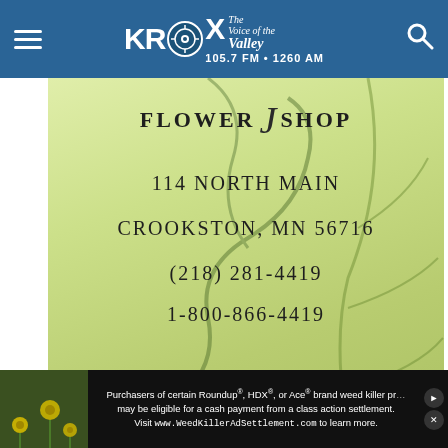KROX 105.7 FM • 1260 AM – The Voice of the Valley
[Figure (photo): Flower shop business card with green leafy background showing: FLOWER SHOP, 114 North Main, Crookston, MN 56716, (218) 281-4419, 1-800-866-4419]
[Figure (photo): Partially visible advertisement with blue border and a chevron/down arrow, showing a blurry product photo]
Purchasers of certain Roundup®, HDX®, or Ace® brand weed killer products may be eligible for a cash payment from a class action settlement. Visit www.WeedKillerAdSettlement.com to learn more.